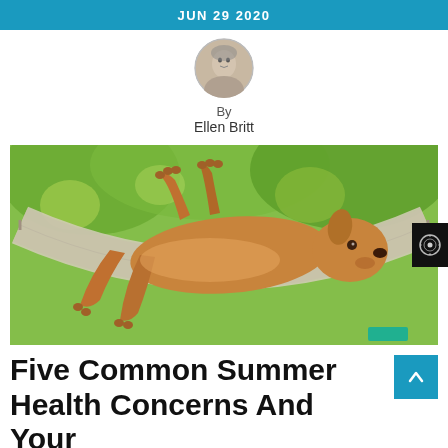JUN 29 2020
[Figure (photo): Circular author portrait photo of Ellen Britt, an older woman with gray hair, smiling.]
By
Ellen Britt
[Figure (photo): A dog lying relaxed on its back in a hammock outdoors, surrounded by green foliage.]
Five Common Summer Health Concerns And Your